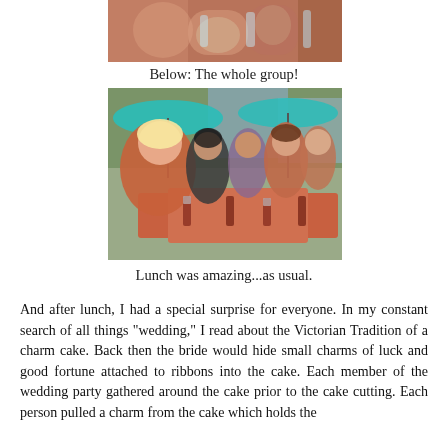[Figure (photo): Partial photo of women at a table with drinks, cropped at top]
Below: The whole group!
[Figure (photo): Group photo of women seated around an outdoor restaurant table with drinks, umbrellas visible in background]
Lunch was amazing...as usual.
And after lunch, I had a special surprise for everyone. In my constant search of all things "wedding," I read about the Victorian Tradition of a charm cake. Back then the bride would hide small charms of luck and good fortune attached to ribbons into the cake. Each member of the wedding party gathered around the cake prior to the cake cutting. Each person pulled a charm from the cake which holds the